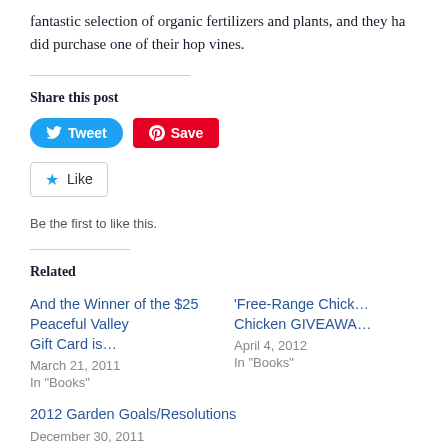fantastic selection of organic fertilizers and plants, and they ha… did purchase one of their hop vines.
Share this post
[Figure (other): Tweet and Save (Pinterest) social sharing buttons]
[Figure (other): Like button with star icon]
Be the first to like this.
Related
And the Winner of the $25 Peaceful Valley Gift Card is…
March 21, 2011
In "Books"
'Free-Range Chick… Chicken GIVEAWA…
April 4, 2012
In "Books"
2012 Garden Goals/Resolutions
December 30, 2011